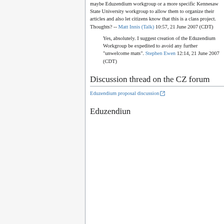maybe Eduzendium workgroup or a more specific Kennesaw State University workgroup to allow them to organize their articles and also let citizens know that this is a class project. Thoughts? -- Matt Innis (Talk) 10:57, 21 June 2007 (CDT)
Yes, absolutely. I suggest creation of the Eduzendium Workgroup be expedited to avoid any further "unwelcome mats". Stephen Ewen 12:14, 21 June 2007 (CDT)
Discussion thread on the CZ forum
Eduzendium proposal discussion
Eduzendium